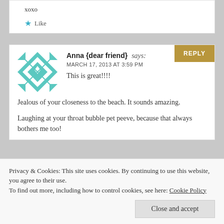xoxo
★ Like
Anna {dear friend} says:
MARCH 17, 2013 AT 3:59 PM
This is great!!!!
Jealous of your closeness to the beach. It sounds amazing.
Laughing at your throat bubble pet peeve, because that always bothers me too!
Privacy & Cookies: This site uses cookies. By continuing to use this website, you agree to their use.
To find out more, including how to control cookies, see here: Cookie Policy
Close and accept